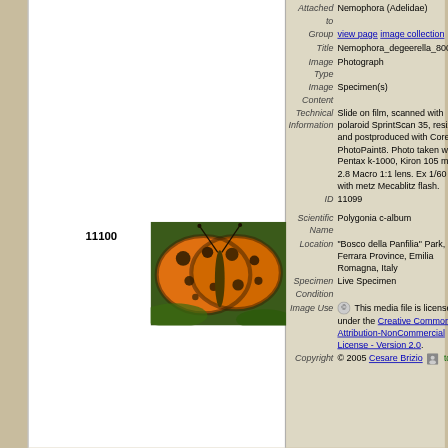11100
[Figure (photo): Photograph of a Polygonia c-album butterfly with orange and black spotted wings, resting on green leaves.]
| Field | Value |
| --- | --- |
| Attached to | Nemophora (Adelidae) |
| Group | view page  image collection |
| Title | Nemophora_degeerella_8001.jpg |
| Image Type | Photograph |
| Image Content | Specimen(s) |
| Technical Information | Slide on film, scanned with polaroid SprintScan 35, resized and postproduced with Corel PhotoPaint8. Photo taken with Pentax k-1000, Kiron 105 mm F 2.8 Macro 1:1 lens. Ex 1/60 F:32 with metz Mecablitz flash. |
| ID | 11099 |
| Scientific Name | Polygonia c-album |
| Location | "Bosco della Panfilia" Park, Ferrara Province, Emilia Romagna, Italy |
| Specimen Condition | Live Specimen |
| Image Use | This media file is licensed under the Creative Commons Attribution-NonCommercial License - Version 2.0. |
| Copyright | © 2005 Cesare Brizio |